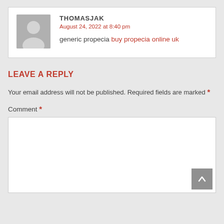THOMASJAK
August 24, 2022 at 8:40 pm
generic propecia buy propecia online uk
LEAVE A REPLY
Your email address will not be published. Required fields are marked *
Comment *